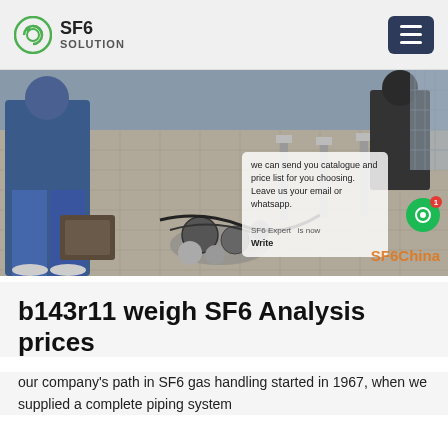SF6 SOLUTION
[Figure (photo): Outdoor scene showing workers and SF6 gas handling equipment laid out on a tiled surface, with a semi-transparent chat popup overlay reading: we can send you catalogue and price list for you choosing. Leave us your email or whatsapp. SF6 Expert is now Write [SFGChina watermark]]
b143r11 weigh SF6 Analysis prices
our company's path in SF6 gas handling started in 1967, when we supplied a complete piping system